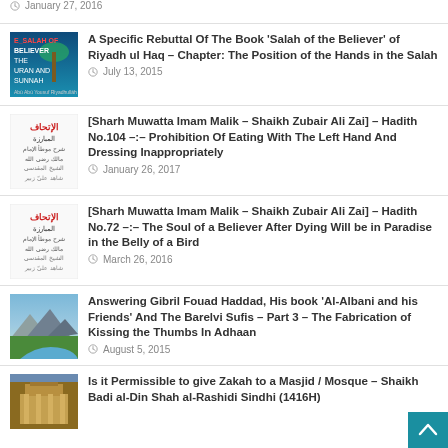January 27, 2016
A Specific Rebuttal Of The Book 'Salah of the Believer' of Riyadh ul Haq – Chapter: The Position of the Hands in the Salah
July 13, 2015
[Sharh Muwatta Imam Malik – Shaikh Zubair Ali Zai] – Hadith No.104 –:– Prohibition Of Eating With The Left Hand And Dressing Inappropriately
January 26, 2017
[Sharh Muwatta Imam Malik – Shaikh Zubair Ali Zai] – Hadith No.72 –:– The Soul of a Believer After Dying Will be in Paradise in the Belly of a Bird
March 26, 2016
Answering Gibril Fouad Haddad, His book 'Al-Albani and his Friends' And The Barelvi Sufis – Part 3 – The Fabrication of Kissing the Thumbs In Adhaan
August 5, 2015
Is it Permissible to give Zakah to a Masjid / Mosque – Shaikh Badi al-Din Shah al-Rashidi Sindhi (1416H)